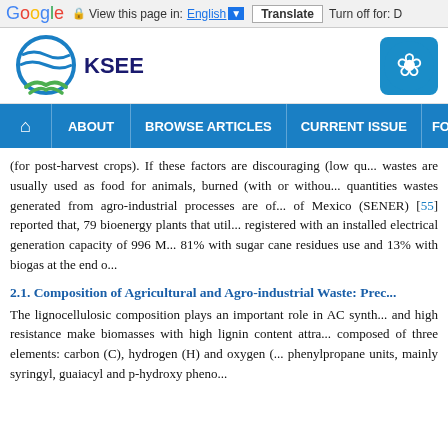Google | View this page in: English ▼ | Translate | Turn off for: D
[Figure (logo): KSEE journal logo with blue globe and green hands, plus a teal icon on the right]
Navigation bar: Home | ABOUT | BROWSE ARTICLES | CURRENT ISSUE | FO...
(for post-harvest crops). If these factors are discouraging (low qua... wastes are usually used as food for animals, burned (with or withou... quantities wastes generated from agro-industrial processes are oft... of Mexico (SENER) [55] reported that, 79 bioenergy plants that util... registered with an installed electrical generation capacity of 996 M... 81% with sugar cane residues use and 13% with biogas at the end o...
2.1. Composition of Agricultural and Agro-industrial Waste: Prec...
The lignocellulosic composition plays an important role in AC synth... and high resistance make biomasses with high lignin content attra... composed of three elements: carbon (C), hydrogen (H) and oxygen (... phenylpropane units, mainly syringyl, guaiacyl and p-hydroxy pheno...